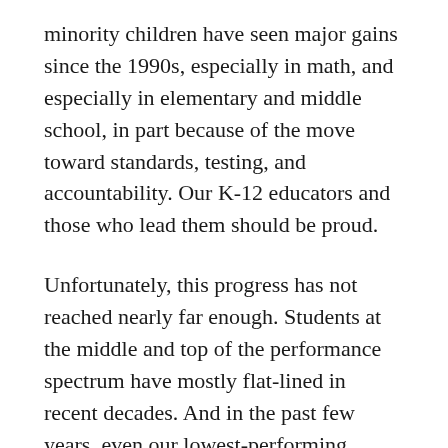minority children have seen major gains since the 1990s, especially in math, and especially in elementary and middle school, in part because of the move toward standards, testing, and accountability. Our K-12 educators and those who lead them should be proud.
Unfortunately, this progress has not reached nearly far enough. Students at the middle and top of the performance spectrum have mostly flat-lined in recent decades. And in the past few years, even our lowest-performing students have been plateauing. That's why, in 2010, dozens of states, Illinois included, elected to take the next step on the reform journey by adopting more rigorous, college-and-career-ready standards for their public schools. Rather than hold schools accountable just for getting students over a low bar,